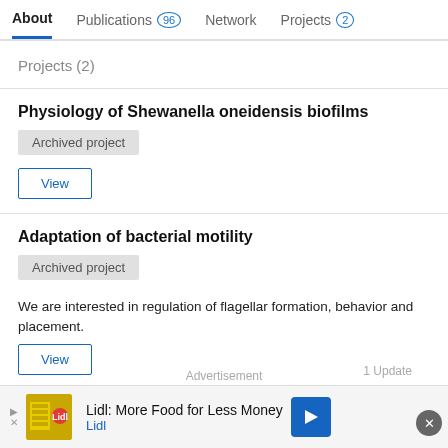About | Publications 96 | Network | Projects 2
Projects (2)
Physiology of Shewanella oneidensis biofilms
Archived project
View
Adaptation of bacterial motility
Archived project
We are interested in regulation of flagellar formation, behavior and placement.
View
Advertisement
Lidl: More Food for Less Money Lidl
1 Update